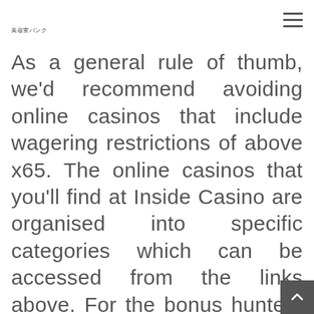美容室バンク
As a general rule of thumb, we'd recommend avoiding online casinos that include wagering restrictions of above x65. The online casinos that you'll find at Inside Casino are organised into specific categories which can be accessed from the links above. For the bonus hunters among you, we've also included their welcome promotions and incentives – these are updated on a regular basis. But for the purposes of this page, let's now take a look at some of the elements you should expect to find at the best UK on